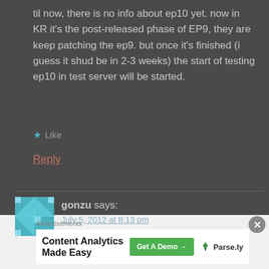til now, there is no info about ep10 yet. now in KR it's the post-released phase of EP9, they are keep patching the ep9. but once it's finished (i guess it shud be in 2-3 weeks) the start of testing ep10 in test server will be started.
★ Like
Reply
gonzu says:
July 5, 2012 at 8:13 pm
Advertisements
[Figure (other): Advertisement banner: Content Analytics Made Easy — Get A Demo button — Parse.ly logo]